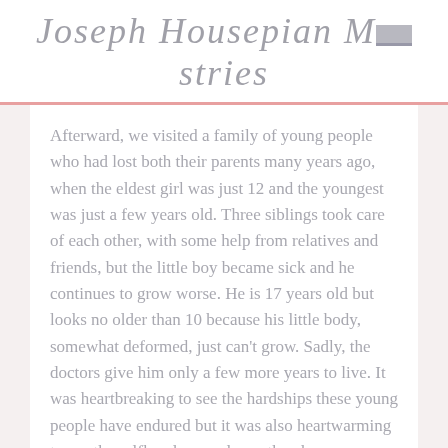Joseph Housepian Ministries
Afterward, we visited a family of young people who had lost both their parents many years ago, when the eldest girl was just 12 and the youngest was just a few years old. Three siblings took care of each other, with some help from relatives and friends, but the little boy became sick and he continues to grow worse. He is 17 years old but looks no older than 10 because his little body, somewhat deformed, just can't grow. Sadly, the doctors give him only a few more years to live. It was heartbreaking to see the hardships these young people have endured but it was also heartwarming to see the selfless love and care they have